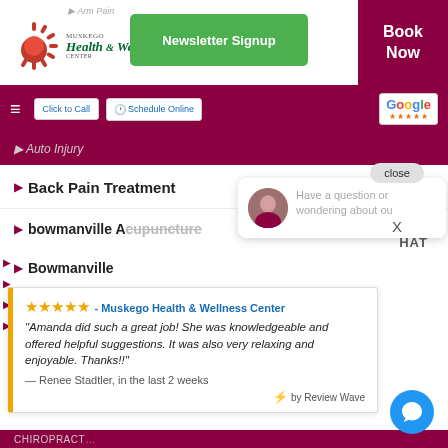[Figure (logo): Muskego Health & Wellness Center logo with sun/rays icon and green script text]
Newsletter Signup
Book Now
Click to Call
Schedule Online
[Figure (logo): Google reviews logo with 5 stars]
▶ Auto Injury
▶ Back Pain Treatment
▶ bowmanville Acupuncture
▶ Bowmanville
[Figure (photo): Chat popup showing a smiling woman avatar with text 'Have a question or wondering about ou']
close
X
HAT
★★★★★ - Muskego Health & Wellness Center
"Amanda did such a great job! She was knowledgeable and offered helpful suggestions. It was also very relaxing and enjoyable. Thanks!!"
— Renee Stadtler, in the last 2 weeks
⚡ by Review Wave